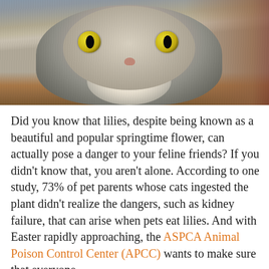[Figure (photo): A fluffy grey long-haired cat with wide yellow eyes looking directly at the camera, photographed indoors against a blurred background.]
Did you know that lilies, despite being known as a beautiful and popular springtime flower, can actually pose a danger to your feline friends? If you didn't know that, you aren't alone. According to one study, 73% of pet parents whose cats ingested the plant didn't realize the dangers, such as kidney failure, that can arise when pets eat lilies. And with Easter rapidly approaching, the ASPCA Animal Poison Control Center (APCC) wants to make sure that everyone knows about the deadly Easter lilies (Lili...